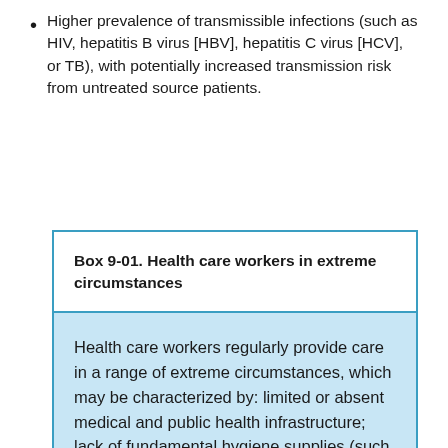Higher prevalence of transmissible infections (such as HIV, hepatitis B virus [HBV], hepatitis C virus [HCV], or TB), with potentially increased transmission risk from untreated source patients.
Box 9-01. Health care workers in extreme circumstances
Health care workers regularly provide care in a range of extreme circumstances, which may be characterized by: limited or absent medical and public health infrastructure; lack of fundamental hygiene supplies (such as soap and water for...